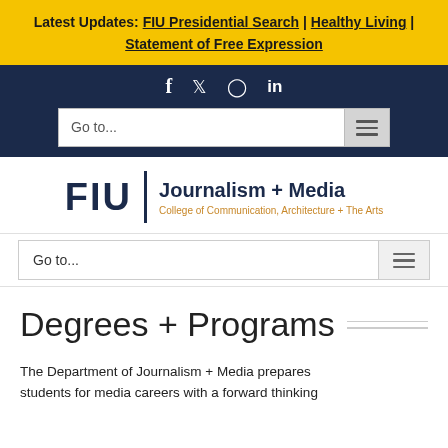Latest Updates: FIU Presidential Search | Healthy Living | Statement of Free Expression
[Figure (screenshot): Social media icons bar on dark blue background: Facebook, Twitter, Instagram, LinkedIn]
[Figure (screenshot): Navigation search bar on dark blue background with 'Go to...' placeholder and hamburger menu icon]
[Figure (logo): FIU Journalism + Media logo with College of Communication, Architecture + The Arts subtitle]
[Figure (screenshot): Sub-navigation bar with 'Go to...' placeholder and hamburger menu icon]
Degrees + Programs
The Department of Journalism + Media prepares students for media careers with a forward thinking